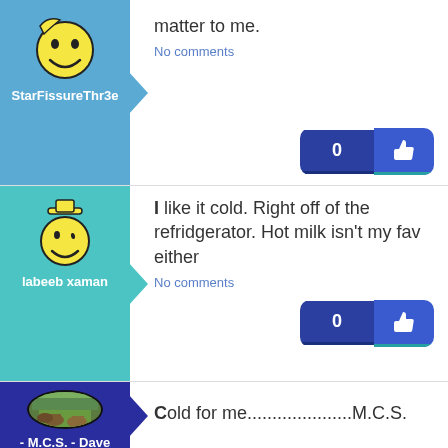matter to me.
No comments
StarFissureThr3e
I like it cold. Right off of the refridgerator. Hot milk isn't my fav either
No comments
labeeb xaman
Cold for me.....................M.C.S.
- M.C.S. - Dave